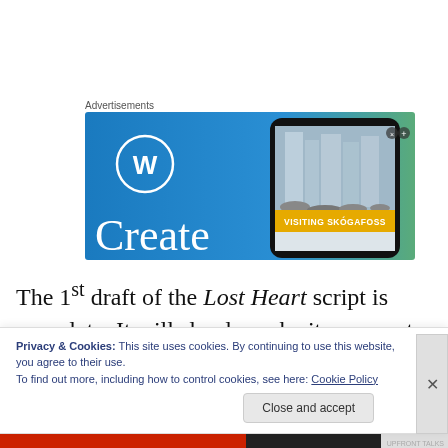[Figure (screenshot): WordPress advertisement banner with blue gradient background, WordPress logo (W in circle), large 'Create' text, and a smartphone showing 'VISITING SKOGAFOSS' on a waterfall image]
The 1st draft of the Lost Heart script is complete. It will slowly make its way out to key development people.  I've gotten my first few reactions to the script and they loved it.
Privacy & Cookies: This site uses cookies. By continuing to use this website, you agree to their use.
To find out more, including how to control cookies, see here: Cookie Policy